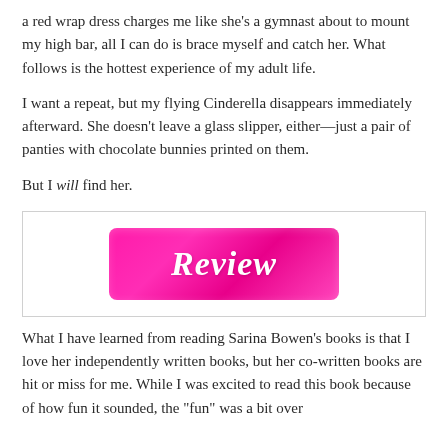a red wrap dress charges me like she's a gymnast about to mount my high bar, all I can do is brace myself and catch her. What follows is the hottest experience of my adult life.
I want a repeat, but my flying Cinderella disappears immediately afterward. She doesn't leave a glass slipper, either—just a pair of panties with chocolate bunnies printed on them.
But I will find her.
[Figure (illustration): A hot pink rectangular banner with rounded corners displaying the word 'Review' in white italic script font, set inside a white-bordered box.]
What I have learned from reading Sarina Bowen's books is that I love her independently written books, but her co-written books are hit or miss for me. While I was excited to read this book because of how fun it sounded, the "fun" was a bit over